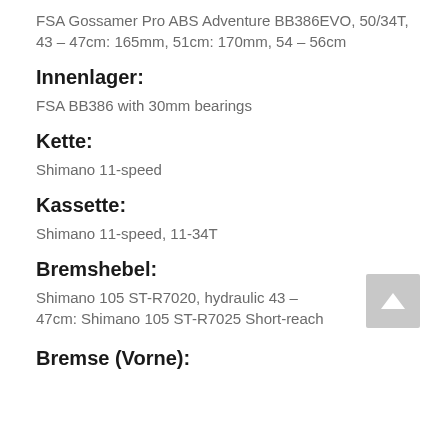FSA Gossamer Pro ABS Adventure BB386EVO, 50/34T, 43 – 47cm: 165mm, 51cm: 170mm, 54 – 56cm
Innenlager:
FSA BB386 with 30mm bearings
Kette:
Shimano 11-speed
Kassette:
Shimano 11-speed, 11-34T
Bremshebel:
Shimano 105 ST-R7020, hydraulic 43 – 47cm: Shimano 105 ST-R7025 Short-reach
Bremse (Vorne):